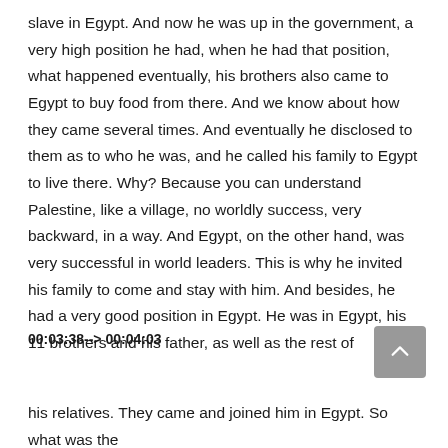slave in Egypt. And now he was up in the government, a very high position he had, when he had that position, what happened eventually, his brothers also came to Egypt to buy food from there. And we know about how they came several times. And eventually he disclosed to them as to who he was, and he called his family to Egypt to live there. Why? Because you can understand Palestine, like a village, no worldly success, very backward, in a way. And Egypt, on the other hand, was very successful in world leaders. This is why he invited his family to come and stay with him. And besides, he had a very good position in Egypt. He was in Egypt, his 11 brothers and his father, as well as the rest of
00:03:38--> 00:04:03
his relatives. They came and joined him in Egypt. So what was the